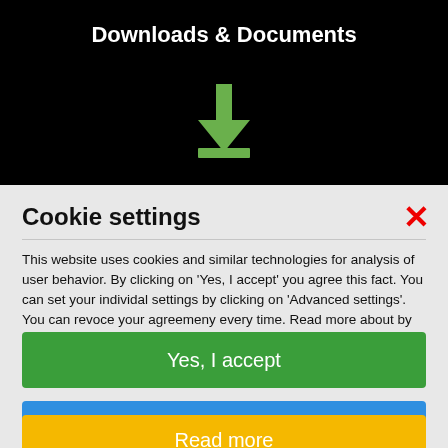Downloads & Documents
[Figure (illustration): Green download arrow icon on black background]
Find all brochures, drivers, firmware updates, user...
Cookie settings
This website uses cookies and similar technologies for analysis of user behavior. By clicking on 'Yes, I accept' you agree this fact. You can set your individal settings by clicking on 'Advanced settings'. You can revoce your agreemeny every time. Read more about by clicking on the correspondent link.
Yes, I accept
Change cookie settings
Have you ever thought about luring
Read more
leting them interact with the likliuee?